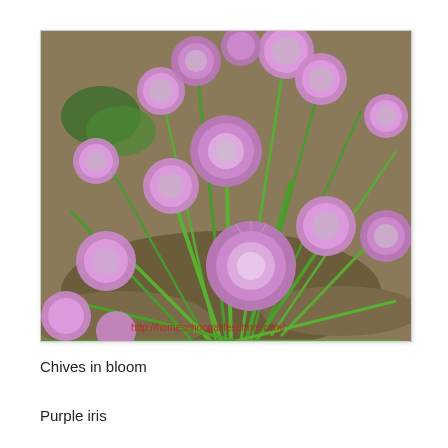[Figure (photo): Photograph of chives in bloom with multiple purple/pink spherical flower heads on tall green stems, growing in sandy soil. A watermark URL 'http://homeschoogalifeschool.com/' is visible at the bottom of the image.]
Chives in bloom
Purple iris